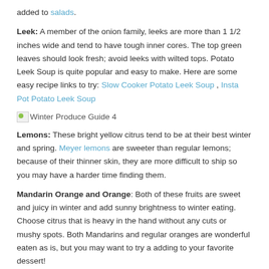added to salads.
Leek: A member of the onion family, leeks are more than 1 1/2 inches wide and tend to have tough inner cores. The top green leaves should look fresh; avoid leeks with wilted tops. Potato Leek Soup is quite popular and easy to make. Here are some easy recipe links to try: Slow Cooker Potato Leek Soup , Insta Pot Potato Leek Soup
[Figure (other): Small broken image icon placeholder labeled 'Winter Produce Guide 4']
Lemons: These bright yellow citrus tend to be at their best winter and spring. Meyer lemons are sweeter than regular lemons; because of their thinner skin, they are more difficult to ship so you may have a harder time finding them.
Mandarin Orange and Orange: Both of these fruits are sweet and juicy in winter and add sunny brightness to winter eating. Choose citrus that is heavy in the hand without any cuts or mushy spots. Both Mandarins and regular oranges are wonderful eaten as is, but you may want to try a adding to your favorite dessert!
Persimmon: Available for a short window in the fall and early winter,